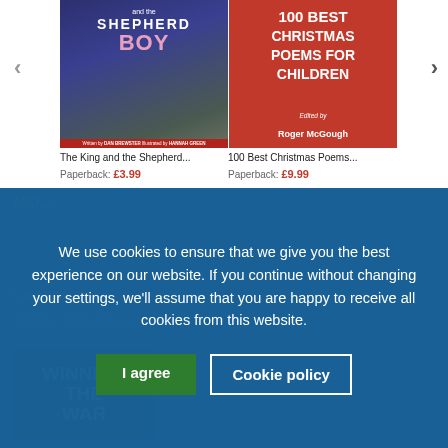[Figure (illustration): Book cover for 'The King and the Shepherd Boy' with dark blue background, illustrated characters]
[Figure (illustration): Book cover for '100 Best Christmas Poems for Children' edited by Roger McGough, red background]
The King and the Shepherd...100 Best Christmas Poems...
Paperback: £3.99
Paperback: £9.99
We use cookies to ensure that we give you the best experience on our website. If you continue without changing your settings, we'll assume that you are happy to receive all cookies from this website.
I agree
Cookie policy
WINNING THE WAR
Louie Giallo
Visit this contributor's page